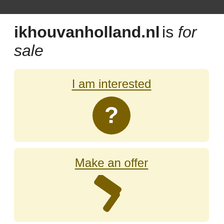ikhouvanholland.nl is for sale
I am interested
[Figure (illustration): Dark brown circle with white question mark inside]
Make an offer
[Figure (illustration): Dark brown gavel/hammer icon]